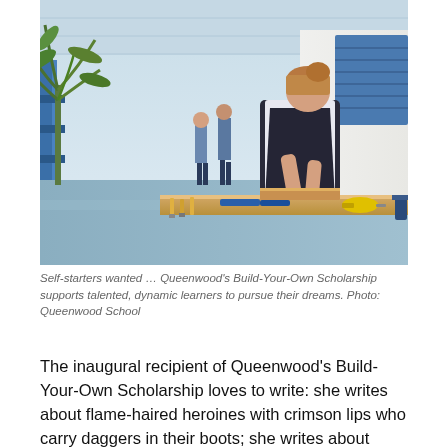[Figure (photo): A student in school uniform and dark apron leans over a workbench, hammering a piece of wood. Tools including chisels and a drill are on the bench. In the background, other students walk along a school corridor with blue railings and tropical plants.]
Self-starters wanted … Queenwood's Build-Your-Own Scholarship supports talented, dynamic learners to pursue their dreams. Photo: Queenwood School
The inaugural recipient of Queenwood's Build-Your-Own Scholarship loves to write: she writes about flame-haired heroines with crimson lips who carry daggers in their boots; she writes about storms that 'claw through the ground